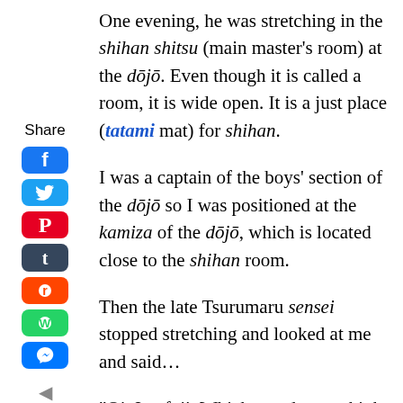[Figure (infographic): Social media share sidebar with Facebook, Twitter, Pinterest, Tumblr, Reddit, WhatsApp, Messenger icons and a left arrow]
One evening, he was stretching in the shihan shitsu (main master's room) at the dōjō. Even though it is called a room, it is wide open. It is a just place (tatami mat) for shihan.
I was a captain of the boys' section of the dōjō so I was positioned at the kamiza of the dōjō, which is located close to the shihan room.
Then the late Tsurumaru sensei stopped stretching and looked at me and said…
"Oi, Imafuji. Which one do you think is